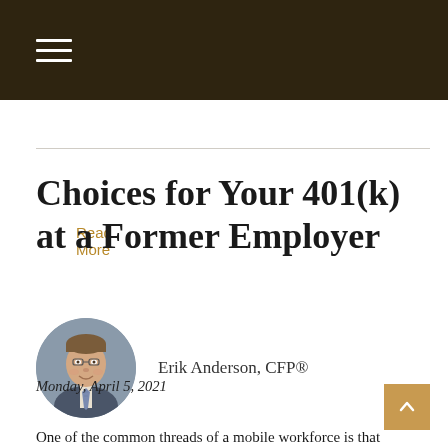Read More
Choices for Your 401(k) at a Former Employer
[Figure (photo): Circular headshot portrait of Erik Anderson, a man in a grey suit with a striped tie, smiling, against a neutral background]
Erik Anderson, CFP®
Monday, April 5, 2021
One of the common threads of a mobile workforce is that